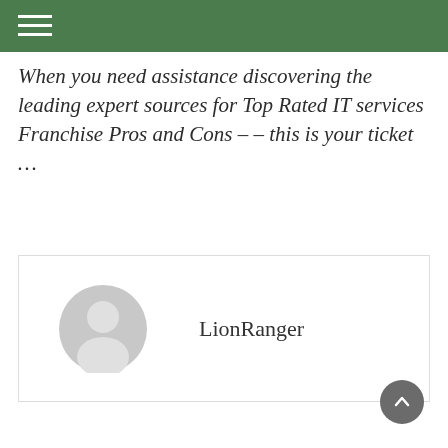When you need assistance discovering the leading expert sources for Top Rated IT services Franchise Pros and Cons – – this is your ticket …
[Figure (illustration): Author avatar card showing a generic grey user profile silhouette icon on the left and the username 'LionRanger' in text on the right, enclosed in a light-bordered box.]